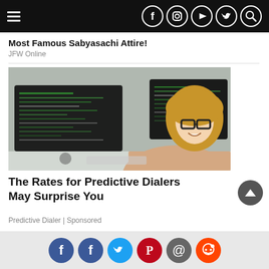Navigation bar with hamburger menu and social icons (Facebook, Instagram, YouTube, Twitter, Search)
Most Famous Sabyasachi Attire!
JFW Online
[Figure (photo): Woman with glasses smiling at camera while sitting in front of multiple monitors displaying code]
The Rates for Predictive Dialers May Surprise You
Predictive Dialer | Sponsored
Social share icons: Facebook, Facebook, Twitter, Pinterest, Email, Reddit